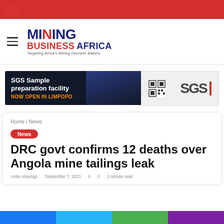Mining Business Africa — website header with red top bar and logo
[Figure (illustration): SGS Sample preparation facility NOW OPEN IN LIMPOPO — advertisement banner with miner photo and SGS logo with QR code]
Home / News
News
DRC govt confirms 12 deaths over Angola mine tailings leak
Anita Anyango   September 7, 2021   0   0   1 minute read
Social sharing bar: Facebook, Twitter, WhatsApp, other